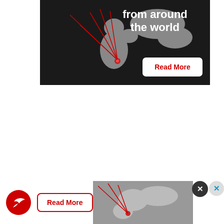[Figure (map): Advertisement banner showing a world map (dark background) with red lines radiating from a point in Africa/Middle East region, with text 'from around the world' and a 'Read More' button]
She was pictured wearing a mask while outside. But once she and … the building, her ma…
[Figure (infographic): Bottom advertisement bar with red circular logo with bird icon, Read More button, partial world map, and close X buttons]